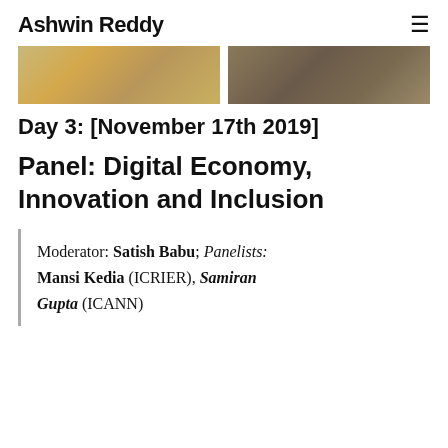Ashwin Reddy
[Figure (photo): Two cropped photos side by side: left shows a golden patterned tablecloth or decorative surface; right shows people at what appears to be an event or conference.]
Day 3: [November 17th 2019]
Panel: Digital Economy, Innovation and Inclusion
Moderator: Satish Babu; Panelists: Mansi Kedia (ICRIER), Samiran Gupta (ICANN)